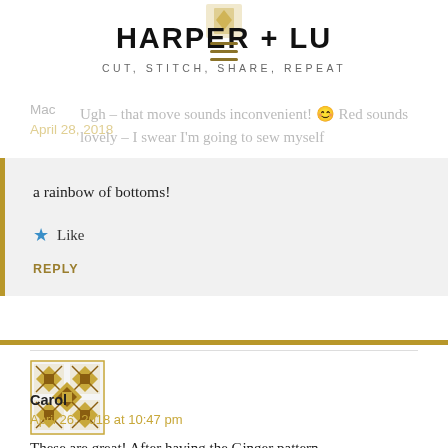HARPER + LU — CUT, STITCH, SHARE, REPEAT
Mac
April 26, 2018
Ugh – that move sounds inconvenient! 😊 Red sounds lovely – I swear I'm going to sew myself a rainbow of bottoms!
Like
REPLY
[Figure (illustration): Decorative quilt pattern avatar for Carol commenter — gold/brown geometric quilt block pattern]
Carol
April 26, 2018 at 10:47 pm
These are great! After having the Ginger pattern